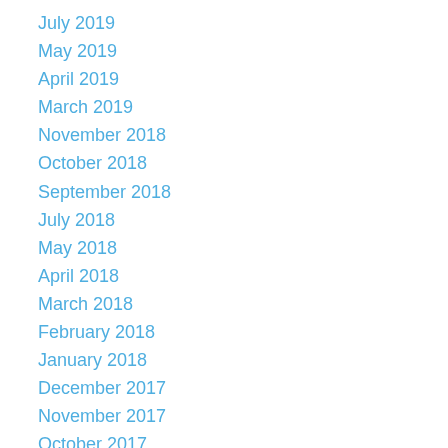July 2019
May 2019
April 2019
March 2019
November 2018
October 2018
September 2018
July 2018
May 2018
April 2018
March 2018
February 2018
January 2018
December 2017
November 2017
October 2017
September 2017
July 2017
May 2017
April 2017